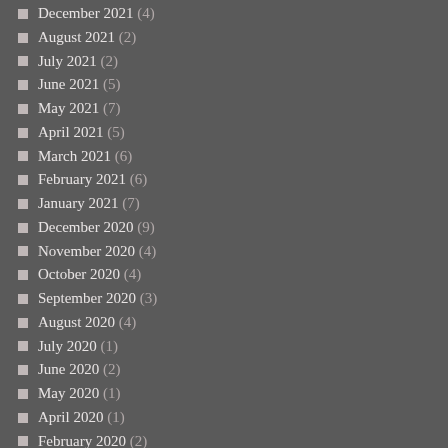December 2021 (4)
August 2021 (2)
July 2021 (2)
June 2021 (5)
May 2021 (7)
April 2021 (5)
March 2021 (6)
February 2021 (6)
January 2021 (7)
December 2020 (9)
November 2020 (4)
October 2020 (4)
September 2020 (3)
August 2020 (4)
July 2020 (1)
June 2020 (2)
May 2020 (1)
April 2020 (1)
February 2020 (2)
November 2019 (1)
July 2019 (7)
May 2019 (5)
April 2019 (2)
March 2019 (3)
February 2019 (1)